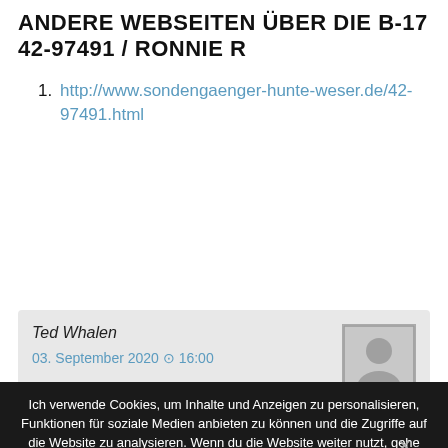Andere Webseiten über die B-17 42-97491 / Ronnie R
http://www.sondengaenger-hunte-weser.de/42-97491.html
Ted Whalen
03. September 2020 ⊙ 16:00
Ich verwende Cookies, um Inhalte und Anzeigen zu personalisieren, Funktionen für soziale Medien anbieten zu können und die Zugriffe auf die Website zu analysieren. Wenn du die Website weiter nutzt, gehe ich von deinem Einverständnis aus // We use cookies on this website
OK   Zur Datenschutzerklärung